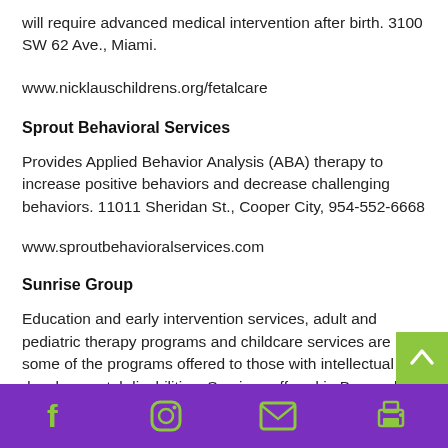will require advanced medical intervention after birth. 3100 SW 62 Ave., Miami.
www.nicklauschildrens.org/fetalcare
Sprout Behavioral Services
Provides Applied Behavior Analysis (ABA) therapy to increase positive behaviors and decrease challenging behaviors. 11011 Sheridan St., Cooper City, 954-552-6668
www.sproutbehavioralservices.com
Sunrise Group
Education and early intervention services, adult and pediatric therapy programs and childcare services are some of the programs offered to those with intellectual and developmental disabilities. Services offered in Broward, Miami-Dade and Palm
Social media and contact icons: Facebook, Instagram, Email, Print